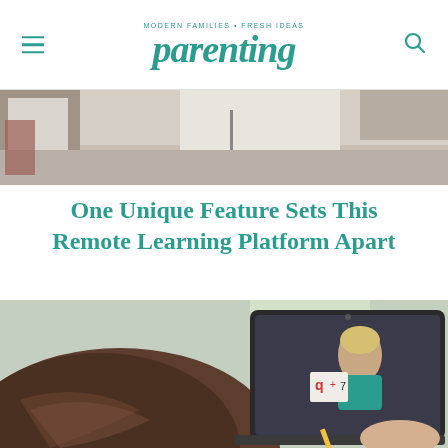MODERN FAMILIES · FRESH IDEAS | parenting
[Figure (photo): Top partial photo showing a room with light-colored walls and furniture, partial crop at top of page]
One Unique Feature Sets This Remote Learning Platform Apart
[Figure (photo): Child with braided hair seen from behind, looking at a laptop screen showing a teacher in a teal shirt holding a whiteboard with writing, child holds a pencil]